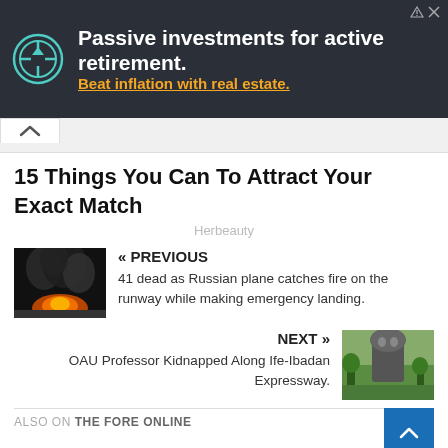[Figure (infographic): Advertisement banner: Passive investments for active retirement. Beat inflation with real estate. Dark background with hexagonal logo.]
15 Things You Can To Attract Your Exact Match
Herbeauty
« PREVIOUS
41 dead as Russian plane catches fire on the runway while making emergency landing.
NEXT »
OAU Professor Kidnapped Along Ife-Ibadan Expressway.
ALSO ON THE FORE ONLINE